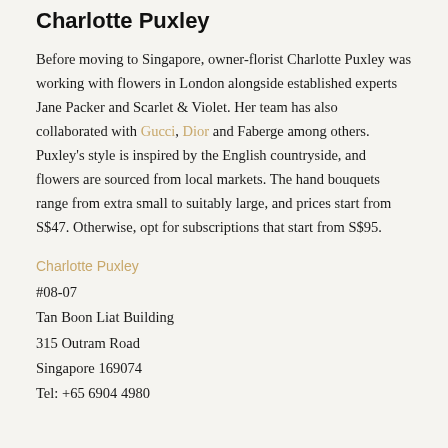Charlotte Puxley
Before moving to Singapore, owner-florist Charlotte Puxley was working with flowers in London alongside established experts Jane Packer and Scarlet & Violet. Her team has also collaborated with Gucci, Dior and Faberge among others. Puxley's style is inspired by the English countryside, and flowers are sourced from local markets. The hand bouquets range from extra small to suitably large, and prices start from S$47. Otherwise, opt for subscriptions that start from S$95.
Charlotte Puxley
#08-07
Tan Boon Liat Building
315 Outram Road
Singapore 169074
Tel: +65 6904 4980